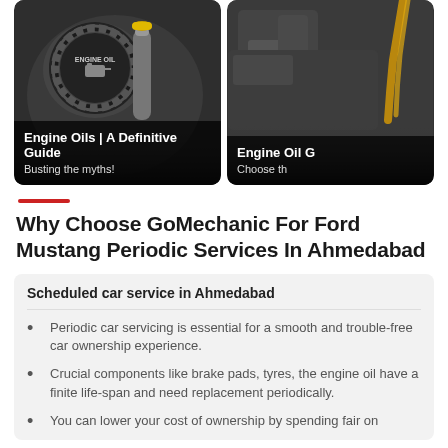[Figure (photo): Engine oil cap close-up photo with text overlay: Engine Oils | A Definitive Guide / Busting the myths!]
[Figure (photo): Engine oil being poured, partial photo with text overlay: Engine Oil G... / Choose th...]
Why Choose GoMechanic For Ford Mustang Periodic Services In Ahmedabad
Scheduled car service in Ahmedabad
Periodic car servicing is essential for a smooth and trouble-free car ownership experience.
Crucial components like brake pads, tyres, the engine oil have a finite life-span and need replacement periodically.
You can lower your cost of ownership by spending fair on...